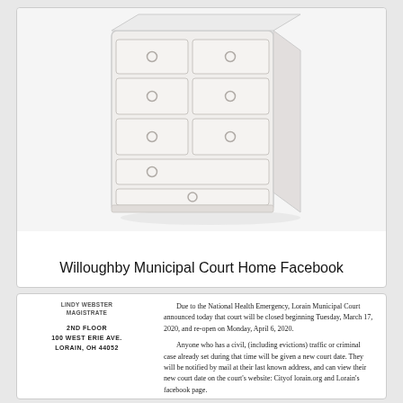[Figure (illustration): Illustration of a white dresser/chest of drawers with circular drawer pulls, shown at a slight angle on a light background.]
Willoughby Municipal Court Home Facebook
LINDY WEBSTER MAGISTRATE

2ND FLOOR
100 WEST ERIE AVE.
LORAIN, OH 44052
Due to the National Health Emergency, Lorain Municipal Court announced today that court will be closed beginning Tuesday, March 17, 2020, and re-open on Monday, April 6, 2020.

Anyone who has a civil, (including evictions) traffic or criminal case already set during that time will be given a new court date.  They will be notified by mail at their last known address, and can view their new court date on the court's website: Cityof lorain.org and Lorain's facebook page.